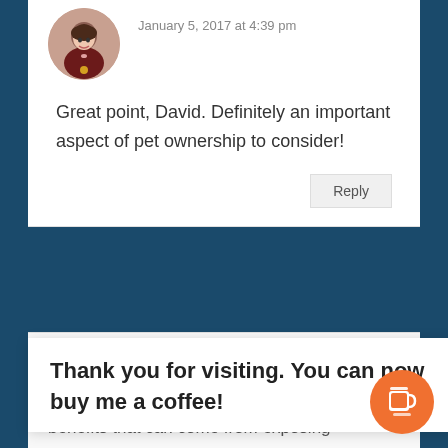[Figure (photo): Circular avatar photo of a woman with dark curly hair, smiling, wearing a dark top with a yellow accessory]
January 5, 2017 at 4:39 pm
Great point, David. Definitely an important aspect of pet ownership to consider!
Reply
[Figure (illustration): Generic gray circular avatar placeholder icon]
Banny Dayal
August 9, 2017 at 9:45 am
Thank you for visiting. You can now buy me a coffee!
benefits that can come from exposing